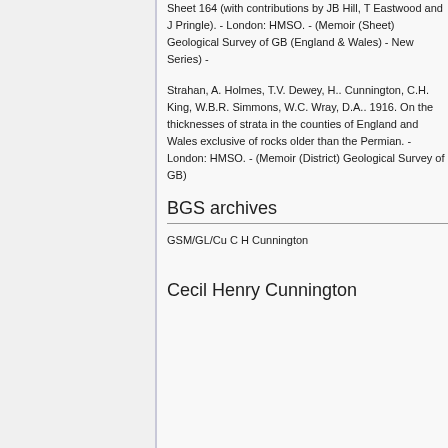Sheet 164 (with contributions by JB Hill, T Eastwood and J Pringle). - London: HMSO. - (Memoir (Sheet) Geological Survey of GB (England & Wales) - New Series) -
Strahan, A. Holmes, T.V. Dewey, H.. Cunnington, C.H. King, W.B.R. Simmons, W.C. Wray, D.A.. 1916. On the thicknesses of strata in the counties of England and Wales exclusive of rocks older than the Permian. - London: HMSO. - (Memoir (District) Geological Survey of GB)
BGS archives
GSM/GL/Cu C H Cunnington
Cecil Henry Cunnington